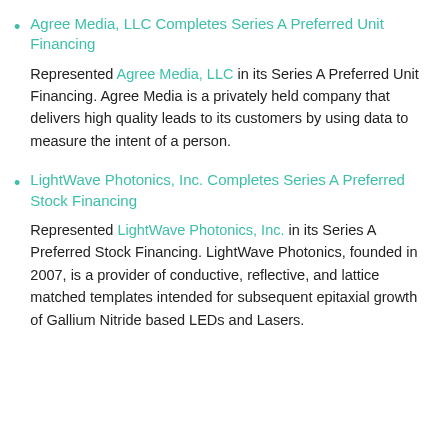Agree Media, LLC Completes Series A Preferred Unit Financing
Represented Agree Media, LLC in its Series A Preferred Unit Financing. Agree Media is a privately held company that delivers high quality leads to its customers by using data to measure the intent of a person.
LightWave Photonics, Inc. Completes Series A Preferred Stock Financing
Represented LightWave Photonics, Inc. in its Series A Preferred Stock Financing. LightWave Photonics, founded in 2007, is a provider of conductive, reflective, and lattice matched templates intended for subsequent epitaxial growth of Gallium Nitride based LEDs and Lasers.